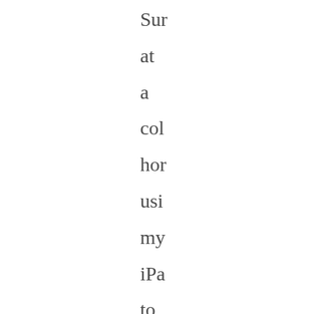Sur at a col hor usi my iPa to do onl leg res anc to rea anc am cas